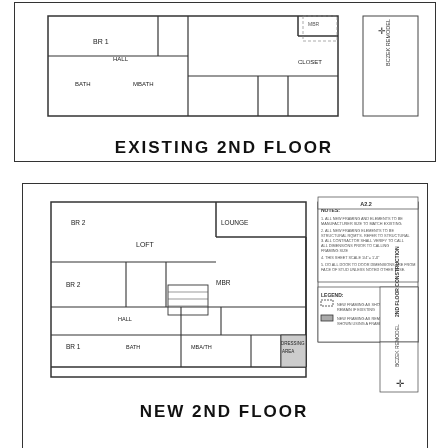[Figure (engineering-diagram): Existing 2nd floor architectural floor plan showing rooms including BR 1, HALL, BATH, and closet areas with a north arrow symbol in the upper right corner, framed with a title block on the right side reading 'BCZEK REMODEL']
EXISTING 2ND FLOOR
[Figure (engineering-diagram): New 2nd floor construction plan showing rooms including LOFT, LOUNGE, BR 2, BR 1, MBR, HALL, BATH, MBA/TH, DRESSING AREA, staircase, and various dimensions. Includes a legend, notes section, title block reading '2ND FLOOR CONSTRUCTION' and 'BCZEK REMODEL', and north arrow symbol. Sheet reference A2.2.]
NEW 2ND FLOOR